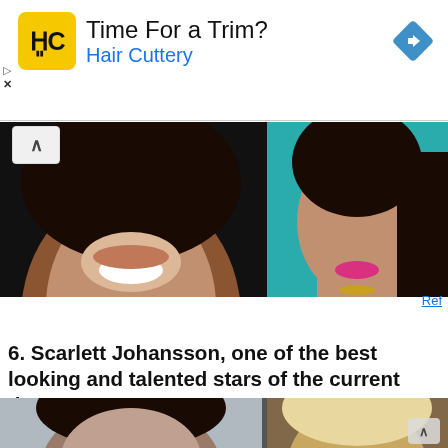[Figure (other): Hair Cuttery advertisement banner with logo, 'Time For a Trim?' headline, 'Hair Cuttery' subtitle in blue, and a blue navigation diamond icon on the right]
[Figure (photo): Two side-by-side photos: left shows a woman with dark hair laughing/smiling against dark background, right shows a woman with dark hair and pink lipstick against teal background with gold jewelry]
Ref
6. Scarlett Johansson, one of the best looking and talented stars of the current time
[Figure (photo): Two side-by-side photos: left shows a young girl with dark hair against blue-grey background, right shows a blonde woman with elegant upswept hair]